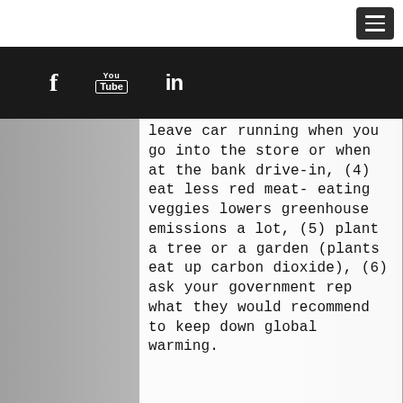[Figure (screenshot): Top navigation bar with hamburger menu icon on the right side against white background]
[Figure (screenshot): Black social media bar with Facebook (f), YouTube (You/Tube), and LinkedIn (in) icons]
[Figure (photo): Background photo of an interior scene, partially visible on left and right sides behind the text panel]
leave car running when you go into the store or when at the bank drive-in, (4) eat less red meat- eating veggies lowers greenhouse emissions a lot, (5) plant a tree or a garden (plants eat up carbon dioxide), (6) ask your government rep what they would recommend to keep down global warming.